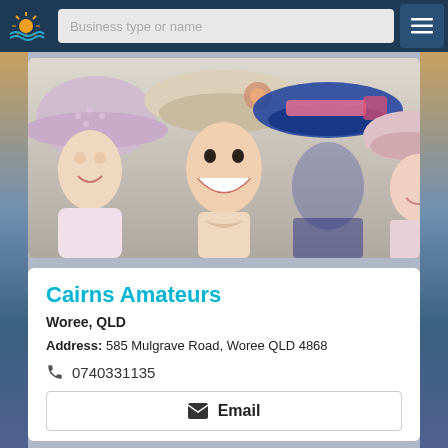[Figure (screenshot): Website navigation bar with a logo (sun over water), a search field labeled 'Business type or name', and a hamburger menu icon on the right side, on a dark navy background.]
[Figure (photo): Photo of several women wearing elegant hats at what appears to be a racing event. The central woman is smiling broadly, wearing a decorative hat. Others wear pink, lavender, and beige hats.]
Cairns Amateurs
Woree, QLD
Address: 585 Mulgrave Road, Woree QLD 4868
0740331135
Email